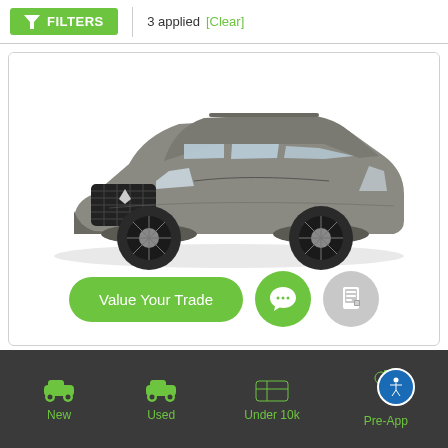FILTERS  |  3 applied  [Clear]
[Figure (screenshot): A gray Lexus UX SUV crossover vehicle shown from a front three-quarter angle, displayed as a car listing card with white background and green border.]
Value Your Trade
New  Used  Under 10k  Pre-App